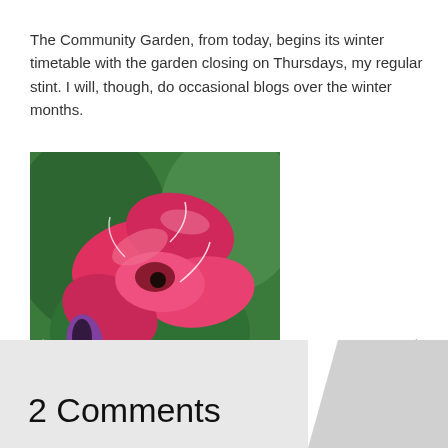The Community Garden, from today, begins its winter timetable with the garden closing on Thursdays, my regular stint. I will, though, do occasional blogs over the winter months.
[Figure (photo): Close-up photograph of red/pink harlequin ladybird flowers with green foliage background. Caption text at bottom reads 'harlequin lodybird'.]
← →
2 Comments